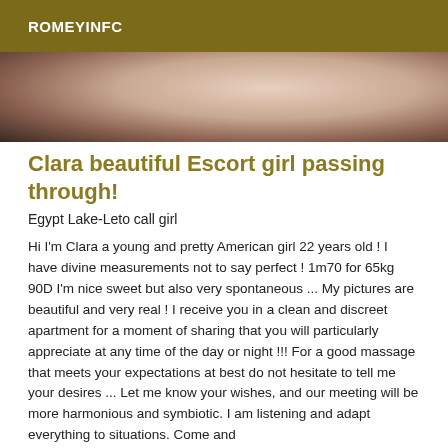ROMEYINFC
[Figure (photo): Partial photo showing fabric/bedding in muted pink and brown tones]
Clara beautiful Escort girl passing through!
Egypt Lake-Leto call girl
Hi I'm Clara a young and pretty American girl 22 years old ! I have divine measurements not to say perfect ! 1m70 for 65kg 90D I'm nice sweet but also very spontaneous ... My pictures are beautiful and very real ! I receive you in a clean and discreet apartment for a moment of sharing that you will particularly appreciate at any time of the day or night !!! For a good massage that meets your expectations at best do not hesitate to tell me your desires ... Let me know your wishes, and our meeting will be more harmonious and symbiotic. I am listening and adapt everything to situations. Come and